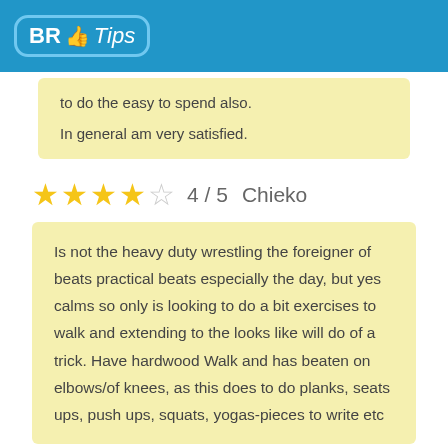BR Tips
to do the easy to spend also.
In general am very satisfied.
★★★★☆  4 / 5   Chieko
Is not the heavy duty wrestling the foreigner of beats practical beats especially the day, but yes calms so only is looking to do a bit exercises to walk and extending to the looks like will do of a trick. Have hardwood Walk and has beaten on elbows/of knees, as this does to do planks, seats ups, push ups, squats, yogas-pieces to write etc